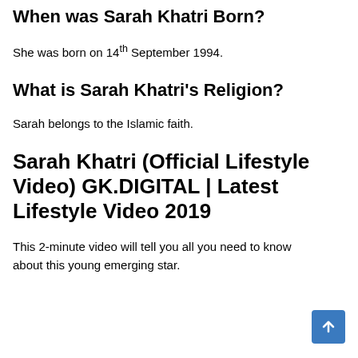When was Sarah Khatri Born?
She was born on 14th September 1994.
What is Sarah Khatri's Religion?
Sarah belongs to the Islamic faith.
Sarah Khatri (Official Lifestyle Video) GK.DIGITAL | Latest Lifestyle Video 2019
This 2-minute video will tell you all you need to know about this young emerging star.